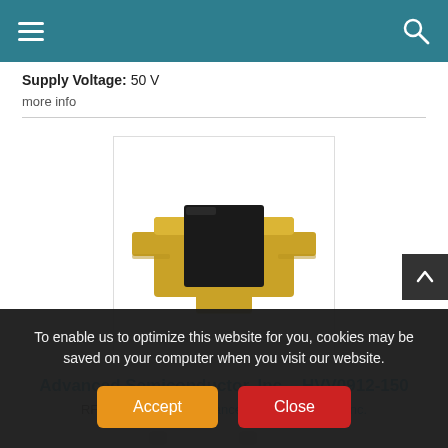Navigation header with hamburger menu and search icon
Supply Voltage: 50 V
more info
[Figure (photo): RF transistor component (HVV0912-150) - a gold and black semiconductor package with leads extending from each side, shown in product photo format.]
Advanced Semiconductor, Inc. - HVV0912-150
RF Transistor from Advanced Semiconductor, Inc.
To enable us to optimize this website for you, cookies may be saved on your computer when you visit our website.